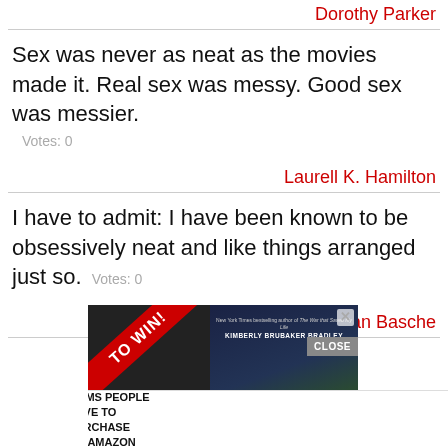Dorothy Parker
Sex was never as neat as the movies made it. Real sex was messy. Good sex was messier.
Votes: 0
Laurell K. Hamilton
I have to admit: I have been known to be obsessively neat and like things arranged just so.  Votes: 0
David Alan Basche
[Figure (screenshot): Advertisement banner showing a contest to win with a book by Kimberly Brubaker Bradley, overlaid with a '37 Items People Love to Purchase on Amazon' ad from 22Words, with a CLOSE button and X close icons.]